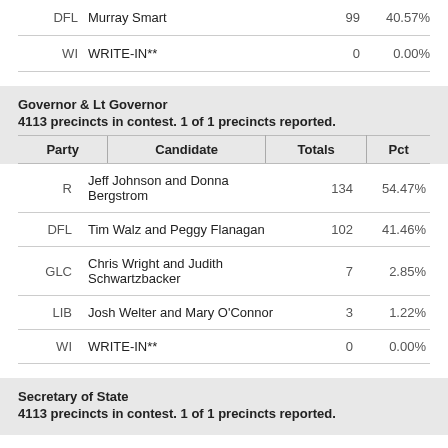| Party | Candidate | Totals | Pct |
| --- | --- | --- | --- |
| DFL | Murray Smart | 99 | 40.57% |
| WI | WRITE-IN** | 0 | 0.00% |
Governor & Lt Governor
4113 precincts in contest. 1 of 1 precincts reported.
| Party | Candidate | Totals | Pct |
| --- | --- | --- | --- |
| R | Jeff Johnson and Donna Bergstrom | 134 | 54.47% |
| DFL | Tim Walz and Peggy Flanagan | 102 | 41.46% |
| GLC | Chris Wright and Judith Schwartzbacker | 7 | 2.85% |
| LIB | Josh Welter and Mary O'Connor | 3 | 1.22% |
| WI | WRITE-IN** | 0 | 0.00% |
Secretary of State
4113 precincts in contest. 1 of 1 precincts reported.